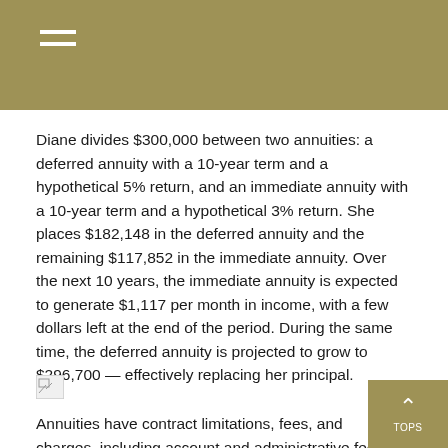Diane divides $300,000 between two annuities: a deferred annuity with a 10-year term and a hypothetical 5% return, and an immediate annuity with a 10-year term and a hypothetical 3% return. She places $182,148 in the deferred annuity and the remaining $117,852 in the immediate annuity. Over the next 10 years, the immediate annuity is expected to generate $1,117 per month in income, with a few dollars left at the end of the period. During the same time, the deferred annuity is projected to grow to $296,700 — effectively replacing her principal.
[Figure (other): Broken image placeholder icon]
Annuities have contract limitations, fees, and charges, including account and administrative fees, underlying investment management fees, mortality and expense and charges for optional benefits. Most annuities have